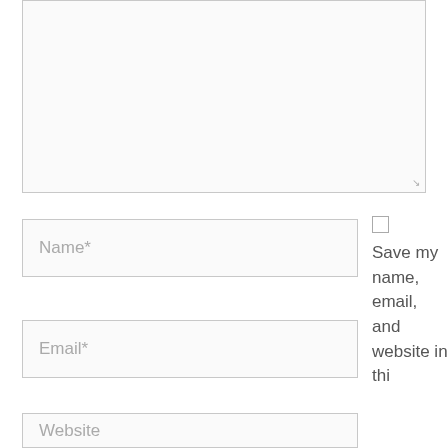[Figure (screenshot): Large empty textarea input box with resize handle at bottom-right corner]
Name*
Email*
Website
Save my name, email, and website in thi...